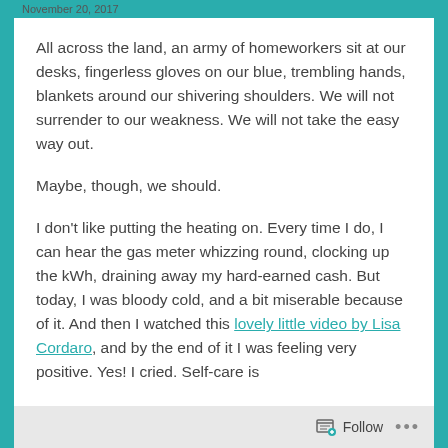November 20, 2017
All across the land, an army of homeworkers sit at our desks, fingerless gloves on our blue, trembling hands, blankets around our shivering shoulders. We will not surrender to our weakness. We will not take the easy way out.
Maybe, though, we should.
I don't like putting the heating on. Every time I do, I can hear the gas meter whizzing round, clocking up the kWh, draining away my hard-earned cash. But today, I was bloody cold, and a bit miserable because of it. And then I watched this lovely little video by Lisa Cordaro, and by the end of it I was feeling very positive. Yes! I cried. Self-care is
Follow